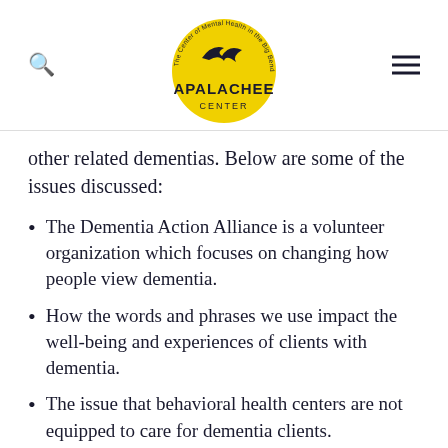[Figure (logo): Apalachee Center logo — yellow circle with a bird silhouette and the text 'APALACHEE CENTER' and arc text 'The Center of Mental Health in the Big Bend']
other related dementias. Below are some of the issues discussed:
The Dementia Action Alliance is a volunteer organization which focuses on changing how people view dementia.
How the words and phrases we use impact the well-being and experiences of clients with dementia.
The issue that behavioral health centers are not equipped to care for dementia clients.
There is a lack of education in this field for first responders and medical health care centers.